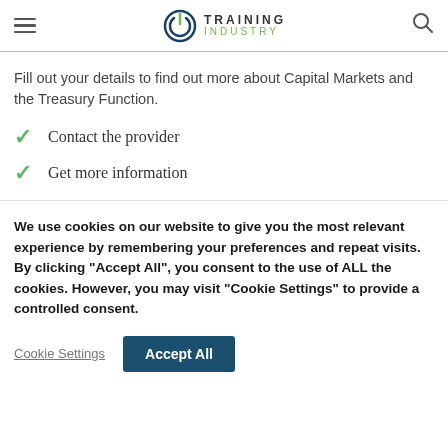[Figure (logo): Training Industry logo with circular power button icon, 'TRAINING' in bold dark letters and 'INDUSTRY' in green letters]
Fill out your details to find out more about Capital Markets and the Treasury Function.
Contact the provider
Get more information
We use cookies on our website to give you the most relevant experience by remembering your preferences and repeat visits. By clicking “Accept All”, you consent to the use of ALL the cookies. However, you may visit “Cookie Settings” to provide a controlled consent.